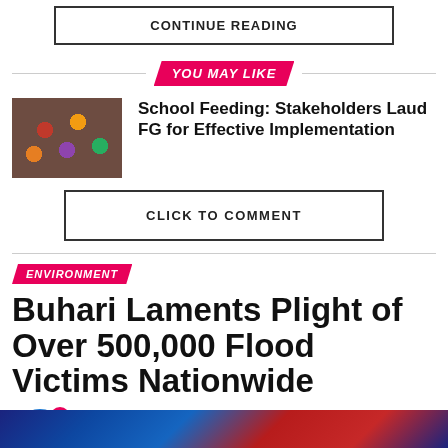CONTINUE READING
YOU MAY LIKE
[Figure (photo): Thumbnail image of colorful food items for school feeding article]
School Feeding: Stakeholders Laud FG for Effective Implementation
CLICK TO COMMENT
ENVIRONMENT
Buhari Laments Plight of Over 500,000 Flood Victims Nationwide
Published 4 hours ago on August 31, 2022
By Editor_01
[Figure (photo): Bottom photo strip of the flood article image]